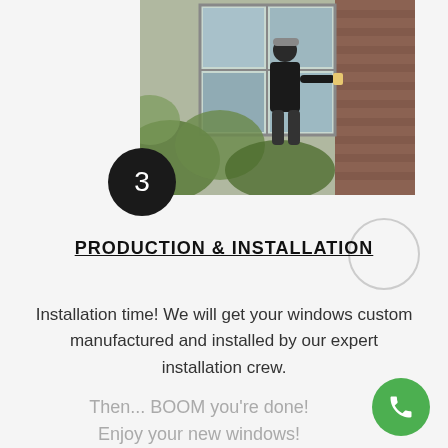[Figure (photo): Worker installing a window on the exterior of a brick building, surrounded by green foliage. Worker wearing a cap and dark clothing, using a tool on the window frame.]
PRODUCTION & INSTALLATION
Installation time! We will get your windows custom manufactured and installed by our expert installation crew.
Then... BOOM you're done! Enjoy your new windows!